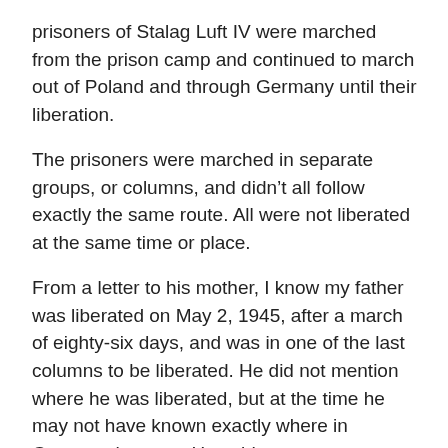prisoners of Stalag Luft IV were marched from the prison camp and continued to march out of Poland and through Germany until their liberation.
The prisoners were marched in separate groups, or columns, and didn't all follow exactly the same route. All were not liberated at the same time or place.
From a letter to his mother, I know my father was liberated on May 2, 1945, after a march of eighty-six days, and was in one of the last columns to be liberated. He did not mention where he was liberated, but at the time he may not have known exactly where in Germany he was.  He said,
I guess you have heard through the government that I was liberated. I was liberated by the English May 2nd and have